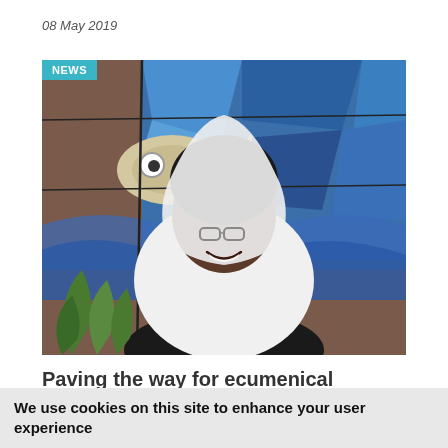08 May 2019
[Figure (photo): A smiling woman wearing a white head covering and glasses, photographed in front of a colorful stained glass mural with blue and brown tones depicting a fish and waves. A green plant is visible in the lower left. A cyan 'NEWS' badge overlays the top-left corner of the photo.]
Paving the way for ecumenical studies, learning English in Bossey
We use cookies on this site to enhance your user experience